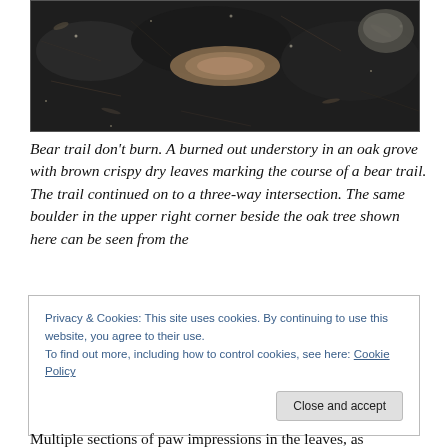[Figure (photo): Close-up photograph of a burned out forest understory in an oak grove, showing dark charred ground with brown crispy dry leaves marking the course of a bear trail. A boulder is visible in the upper right area.]
Bear trail don't burn. A burned out understory in an oak grove with brown crispy dry leaves marking the course of a bear trail. The trail continued on to a three-way intersection. The same boulder in the upper right corner beside the oak tree shown here can be seen from the
Privacy & Cookies: This site uses cookies. By continuing to use this website, you agree to their use.
To find out more, including how to control cookies, see here: Cookie Policy
Multiple sections of paw impressions in the leaves, as